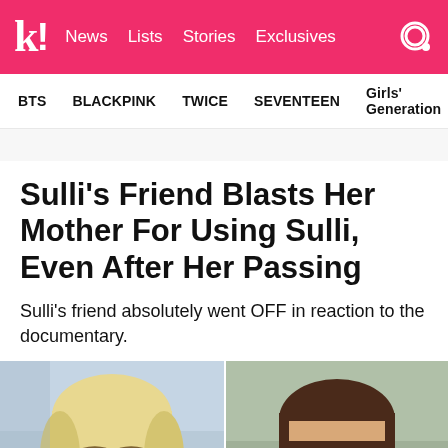k! News Lists Stories Exclusives
BTS   BLACKPINK   TWICE   SEVENTEEN   Girls' Generation
Sulli's Friend Blasts Her Mother For Using Sulli, Even After Her Passing
Sulli's friend absolutely went OFF in reaction to the documentary.
[Figure (photo): Two-panel photo: left shows a young woman with blonde hair (Sulli's friend), right shows an older woman with brown bob haircut (Sulli's mother)]